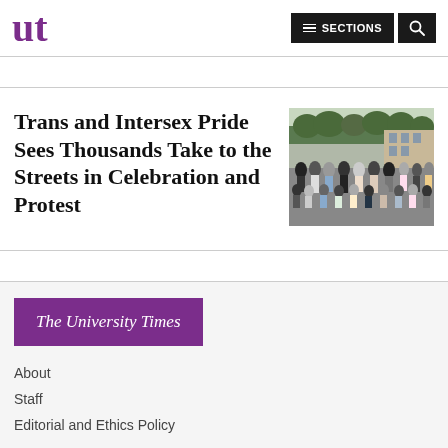ut | SECTIONS | Search
Trans and Intersex Pride Sees Thousands Take to the Streets in Celebration and Protest
[Figure (photo): Crowd of people marching in a pride parade on a city street, with trees and buildings in the background]
[Figure (logo): The University Times logo — white italic serif text on purple/magenta background]
About
Staff
Editorial and Ethics Policy